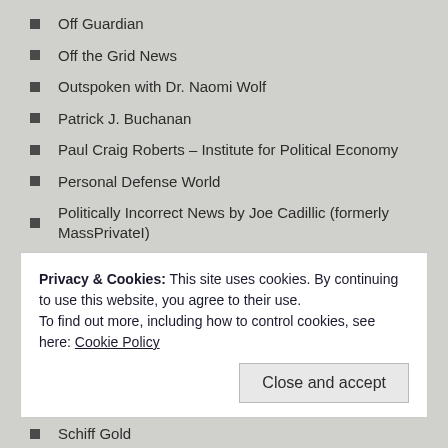Off Guardian
Off the Grid News
Outspoken with Dr. Naomi Wolf
Patrick J. Buchanan
Paul Craig Roberts – Institute for Political Economy
Personal Defense World
Politically Incorrect News by Joe Cadillic (formerly MassPrivateI)
Postcards From Barsoom
Prepper's Will
Real Clear Politics
Privacy & Cookies: This site uses cookies. By continuing to use this website, you agree to their use.
To find out more, including how to control cookies, see here: Cookie Policy
Schiff Gold